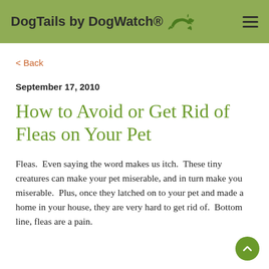DogTails by DogWatch®
< Back
September 17, 2010
How to Avoid or Get Rid of Fleas on Your Pet
Fleas.  Even saying the word makes us itch.  These tiny creatures can make your pet miserable, and in turn make you miserable.  Plus, once they latched on to your pet and made a home in your house, they are very hard to get rid of.  Bottom line, fleas are a pain.